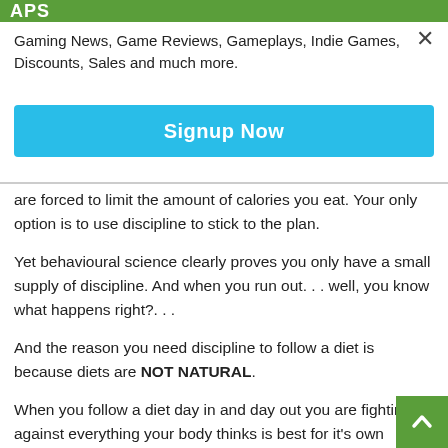APS
Gaming News, Game Reviews, Gameplays, Indie Games, Discounts, Sales and much more.
Signup Now
are forced to limit the amount of calories you eat. Your only option is to use discipline to stick to the plan.
Yet behavioural science clearly proves you only have a small supply of discipline. And when you run out... well, you know what happens right?...
And the reason you need discipline to follow a diet is because diets are NOT NATURAL.
When you follow a diet day in and day out you are fighting against everything your body thinks is best for it's own survival.
Which is why you end up sick, suffering from accelerated